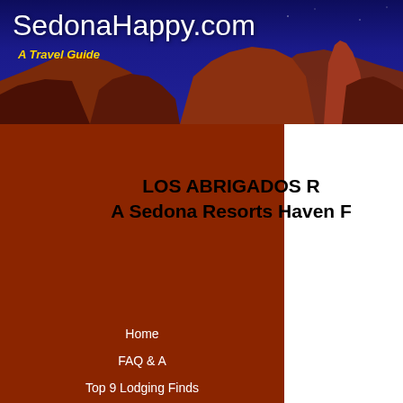SedonaHappy.com — A Travel Guide
[Figure (photo): Header banner with red rock Sedona landscape against deep blue twilight sky]
LOS ABRIGADOS R... A Sedona Resorts Haven F...
Home
FAQ & A
Top 9 Lodging Finds
Photo Galleries
Favorite Videos
About Me, You, Us...